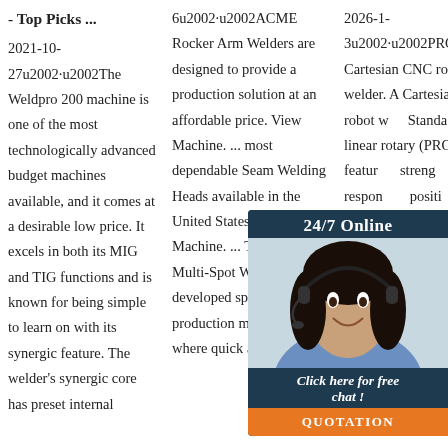- Top Picks ...
2021-10-27u2002·u2002The Weldpro 200 machine is one of the most technologically advanced budget machines available, and it comes at a desirable low price. It excels in both its MIG and TIG functions and is known for being simple to learn on with its synergic feature. The welder's synergic core has preset internal
6u2002·u2002ACME Rocker Arm Welders are designed to provide a production solution at an affordable price. View Machine. ... most dependable Seam Welding Heads available in the United States. View Machine. ... The Seedorff Multi-Spot Welder was developed specifically for production manufacturing where quick and precise
2026-1- 3u2002·u2002PROFIBOT® Cartesian CNC robot welder. A Cartesian robot with Standard linear rotary (PROF featuring strength responsive position flexibility orientation/angle adjustment, high end load and wide range compared with the conventional
[Figure (illustration): Customer service chat widget overlay showing a woman with headset, '24/7 Online' header, 'Click here for free chat!' text, and orange QUOTATION button]